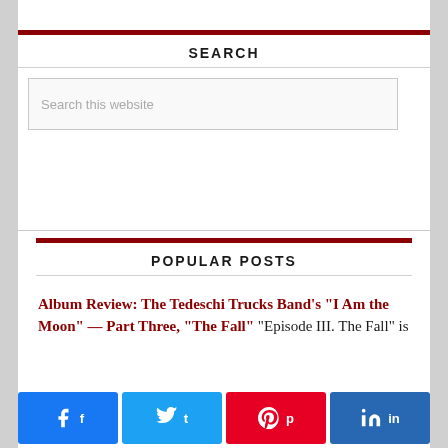[Figure (logo): Dark rectangular logo bar at top]
SEARCH
[Figure (other): Search input box with placeholder text: Search this website]
POPULAR POSTS
Album Review: The Tedeschi Trucks Band’s “I Am the Moon” — Part Three, “The Fall” “Episode III. The Fall” is
[Figure (other): Social share buttons row: Facebook, Twitter, Pinterest, LinkedIn]